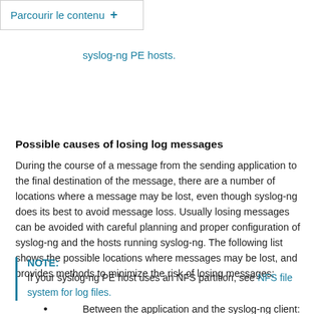Parcourir le contenu +
syslog-ng PE hosts.
Possible causes of losing log messages
During the course of a message from the sending application to the final destination of the message, there are a number of locations where a message may be lost, even though syslog-ng does its best to avoid message loss. Usually losing messages can be avoided with careful planning and proper configuration of syslog-ng and the hosts running syslog-ng. The following list shows the possible locations where messages may be lost, and provides methods to minimize the risk of losing messages:
NOTE:
If your syslog-ng PE host uses an NFS partition, see NFS file system for log files.
Between the application and the syslog-ng client: Make